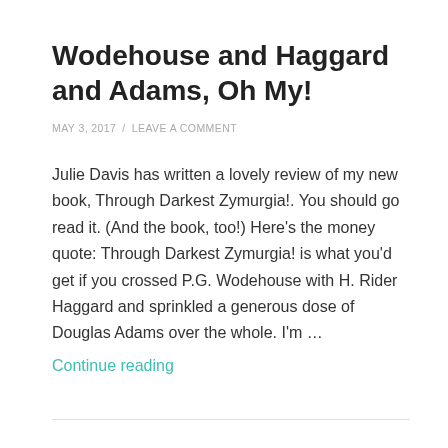Wodehouse and Haggard and Adams, Oh My!
MAY 3, 2017  /  LEAVE A COMMENT
Julie Davis has written a lovely review of my new book, Through Darkest Zymurgia!. You should go read it. (And the book, too!) Here’s the money quote: Through Darkest Zymurgia! is what you'd get if you crossed P.G. Wodehouse with H. Rider Haggard and sprinkled a generous dose of Douglas Adams over the whole. I’m … Continue reading